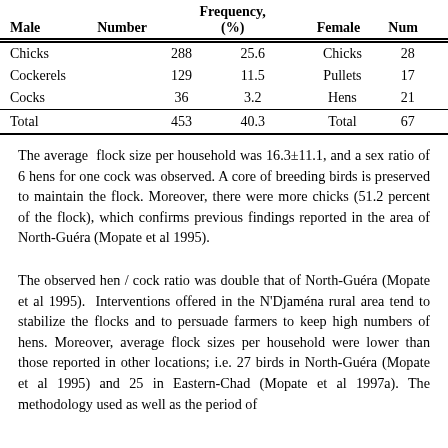| Male | Number | Frequency, (%) | Female | Num |
| --- | --- | --- | --- | --- |
| Chicks | 288 | 25.6 | Chicks | 28 |
| Cockerels | 129 | 11.5 | Pullets | 17 |
| Cocks | 36 | 3.2 | Hens | 21 |
| Total | 453 | 40.3 | Total | 67 |
The average flock size per household was 16.3±11.1, and a sex ratio of 6 hens for one cock was observed. A core of breeding birds is preserved to maintain the flock. Moreover, there were more chicks (51.2 percent of the flock), which confirms previous findings reported in the area of North-Guéra (Mopate et al 1995).
The observed hen / cock ratio was double that of North-Guéra (Mopate et al 1995). Interventions offered in the N'Djaména rural area tend to stabilize the flocks and to persuade farmers to keep high numbers of hens. Moreover, average flock sizes per household were lower than those reported in other locations; i.e. 27 birds in North-Guéra (Mopate et al 1995) and 25 in Eastern-Chad (Mopate et al 1997a). The methodology used as well as the period of